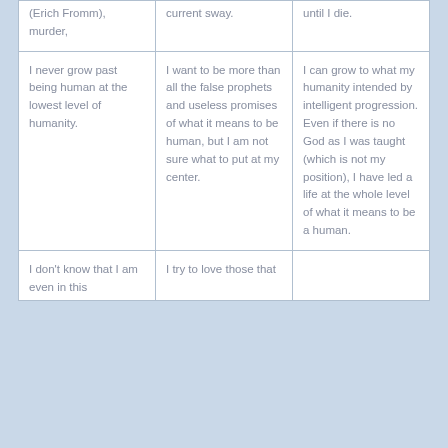| (Erich Fromm), murder, | current sway. | until I die. |
| I never grow past being human at the lowest level of humanity. | I want to be more than all the false prophets and useless promises of what it means to be human, but I am not sure what to put at my center. | I can grow to what my humanity intended by intelligent progression. Even if there is no God as I was taught (which is not my position), I have led a life at the whole level of what it means to be a human. |
| I don't know that I am even in this | I try to love those that |  |